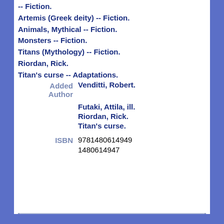-- Fiction.
Artemis (Greek deity) -- Fiction.
Animals, Mythical -- Fiction.
Monsters -- Fiction.
Titans (Mythology) -- Fiction.
Riordan, Rick.
Titan's curse -- Adaptations.
Added Author
Venditti, Robert.
Futaki, Attila, ill.
Riordan, Rick.
Titan's curse.
ISBN
9781480614949
1480614947